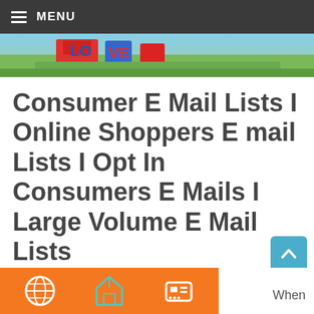MENU
[Figure (photo): Hero image with colorful outdoor sculpture/sign in a park setting with grass and sky]
Consumer E Mail Lists I Online Shoppers E mail Lists I Opt In Consumers E Mails I Large Volume E Mail Lists
[Figure (infographic): Orange banner with email/internet related icons including globe, house, and chat icons]
When